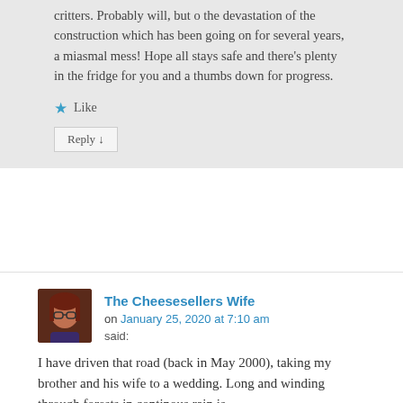critters. Probably will, but o the devastation of the construction which has been going on for several years, a miasmal mess! Hope all stays safe and there's plenty in the fridge for you and a thumbs down for progress.
★ Like
Reply ↓
The Cheesesellers Wife on January 25, 2020 at 7:10 am said:
I have driven that road (back in May 2000), taking my brother and his wife to a wedding. Long and winding through forests in continous rain is